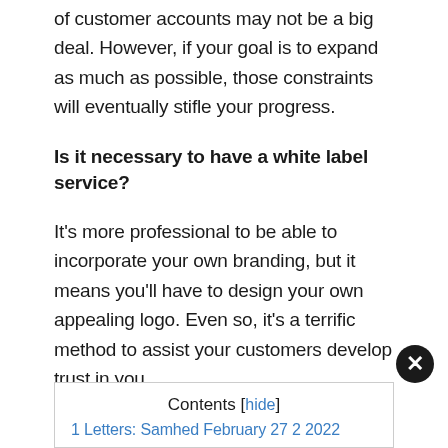of customer accounts may not be a big deal. However, if your goal is to expand as much as possible, those constraints will eventually stifle your progress.
Is it necessary to have a white label service?
It's more professional to be able to incorporate your own branding, but it means you'll have to design your own appealing logo. Even so, it's a terrific method to assist your customers develop trust in you.
Reseller hosting is a type of web hosting in which a website hosting provider licences hard drive space and bandwidth to a small or medium-sized firm, which then offers the space to entrepreneurs or small enterprises.
Contents [hide]